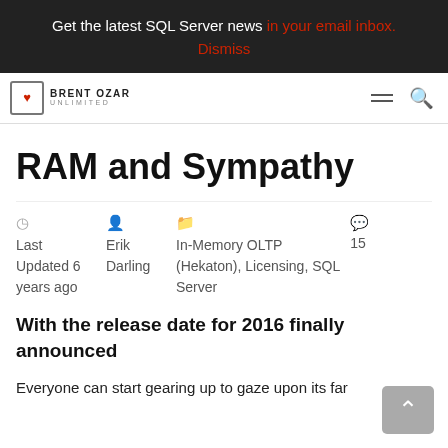Get the latest SQL Server news in your email inbox. Dismiss
BRENT OZAR UNLIMITED
RAM and Sympathy
Last Updated 6 years ago  Erik Darling  In-Memory OLTP (Hekaton), Licensing, SQL Server  15
With the release date for 2016 finally announced
Everyone can start gearing up to gaze upon its far